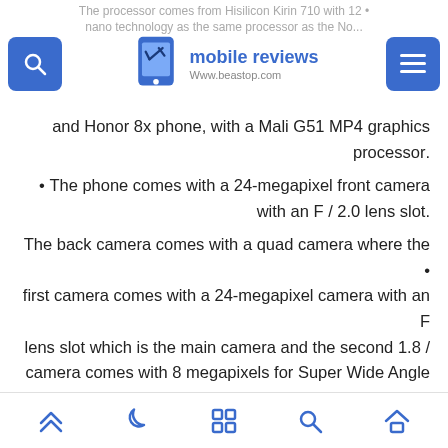The processor comes from Hisilicon Kirin 710 with 12 nano technology as the same processor as the Nova 3i and Honor 8x phone, with a Mali G51 MP4 graphics processor.
[Figure (logo): Mobile Reviews logo with smartphone icon and text 'mobile reviews Www.beastop.com']
• The phone comes with a 24-megapixel front camera with an F / 2.0 lens slot.
• The back camera comes with a quad camera where the first camera comes with a 24-megapixel camera with an F / 1.8 lens slot which is the main camera and the second camera comes with 8 megapixels for Super Wide Angle photography and the third camera comes with a 2-megapixel camera with a lens of F / 2.4 which is for Macro photography The fourth camera comes with a 2-
Navigation bar with icons